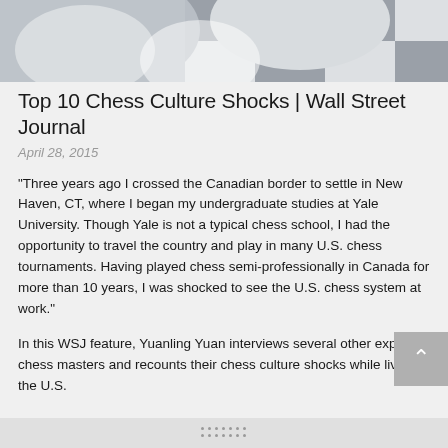[Figure (photo): Partial photo of chess-related scene showing checkered pattern/pieces in grayscale at the top of the page]
Top 10 Chess Culture Shocks | Wall Street Journal
April 28, 2015
"Three years ago I crossed the Canadian border to settle in New Haven, CT, where I began my undergraduate studies at Yale University. Though Yale is not a typical chess school, I had the opportunity to travel the country and play in many U.S. chess tournaments. Having played chess semi-professionally in Canada for more than 10 years, I was shocked to see the U.S. chess system at work."
In this WSJ feature, Yuanling Yuan interviews several other expat chess masters and recounts their chess culture shocks while living in the U.S.